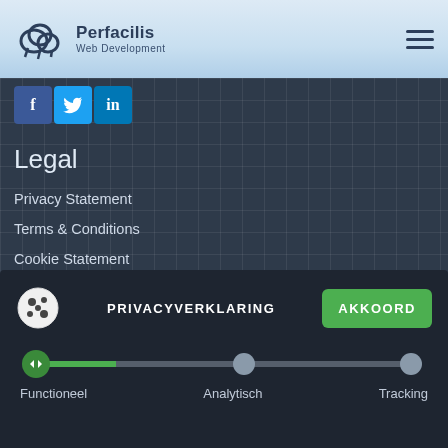[Figure (logo): Perfacilis Web Development logo with cloud icon]
[Figure (infographic): Social media buttons: Facebook (f), Twitter (bird), LinkedIn (in)]
Legal
Privacy Statement
Terms & Conditions
Cookie Statement
Data Protection Impact Assessment (DPIA)
FAQ
[Figure (screenshot): Cookie consent banner with PRIVACYVERKLARING label, AKKOORD button, and a slider with three positions: Functioneel, Analytisch, Tracking]
GIT workflow